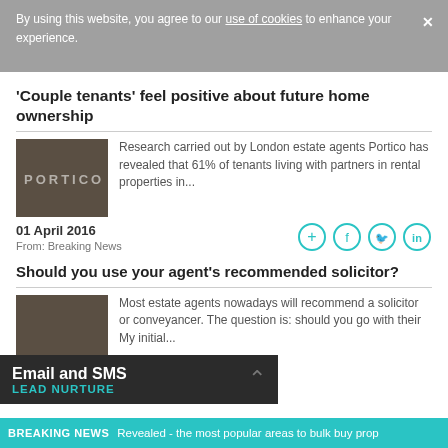By using this website, you agree to our use of cookies to enhance your experience.
'Couple tenants' feel positive about future home ownership
[Figure (logo): Portico estate agents logo on dark brown/grey background]
Research carried out by London estate agents Portico has revealed that 61% of tenants living with partners in rental properties in...
01 April 2016
From: Breaking News
[Figure (infographic): Social share icons: add, facebook, twitter, linkedin in teal circle outlines]
Should you use your agent’s recommended solicitor?
[Figure (photo): Dark brown/grey thumbnail image for second article]
Most estate agents nowadays will recommend a solicitor or conveyancer. The question is: should you go with their My initial...
Email and SMS
LEAD NURTURE
BREAKING NEWS  Revealed - the most popular areas to bulk buy prop